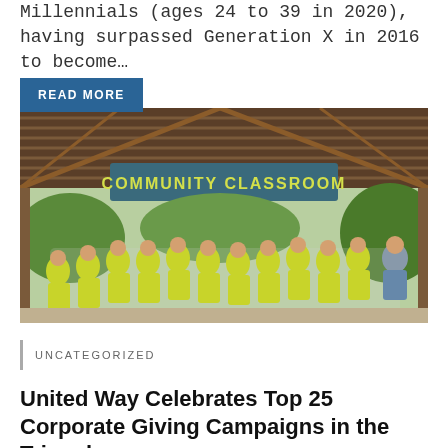Millennials (ages 24 to 39 in 2020), having surpassed Generation X in 2016 to become…
READ MORE
[Figure (photo): Group of people wearing yellow t-shirts standing under a wooden pavilion with a sign reading 'COMMUNITY CLASSROOM']
UNCATEGORIZED
United Way Celebrates Top 25 Corporate Giving Campaigns in the Triangle